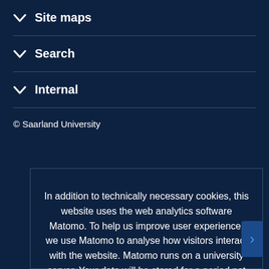Site maps
Search
Internal
© Saarland University
In addition to technically necessary cookies, this website uses the web analytics software Matomo. To help us improve user experience, we use Matomo to analyse how visitors interact with the website. Matomo runs on a university server. Your data will be stored for a period not exceeding six months and will